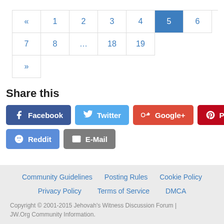[Figure (other): Pagination controls showing pages: «, 1, 2, 3, 4, 5 (active/highlighted), 6, 7, 8, …, 18, 19, and » on next row]
Share this
[Figure (infographic): Social share buttons: Facebook, Twitter, Google+, Pinterest, Reddit, E-Mail]
Community Guidelines   Posting Rules   Cookie Policy   Privacy Policy   Terms of Service   DMCA   Copyright © 2001-2015 Jehovah's Witness Discussion Forum | JW.Org Community Information.